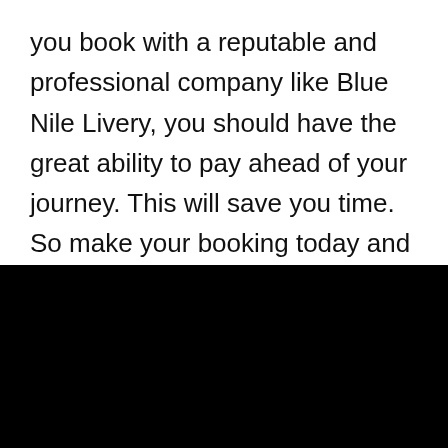you book with a reputable and professional company like Blue Nile Livery, you should have the great ability to pay ahead of your journey. This will save you time.  So make your booking today and let's find out why the Car Service Boston is highly rated.